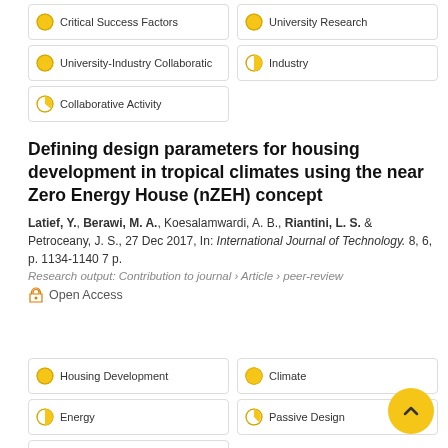Critical Success Factors
University Research
University-Industry Collaboration
Industry
Collaborative Activity
Defining design parameters for housing development in tropical climates using the near Zero Energy House (nZEH) concept
Latief, Y., Berawi, M. A., Koesalamwardi, A. B., Riantini, L. S. & Petroceany, J. S., 27 Dec 2017, In: International Journal of Technology. 8, 6, p. 1134-1140 7 p.
Research output: Contribution to journal › Article › peer-review
Open Access
Housing Development
Climate
Energy
Passive Design
Carbon Footprint